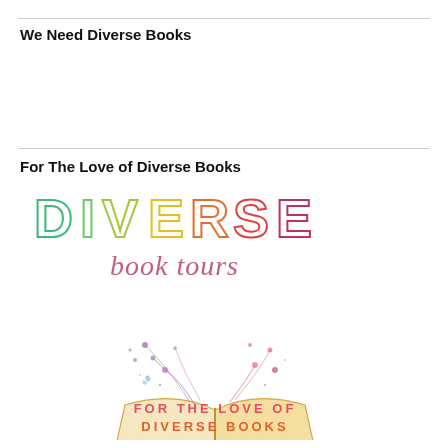We Need Diverse Books
For The Love of Diverse Books
[Figure (logo): Diverse Book Tours logo: colorful letters spelling DIVERSE with an open book below emitting illustrated flowers, butterflies, and swirls, with script text 'book tours' and bottom text 'FOR THE LOVE OF DIVERSE BOOKS' in gradient colors from green to red]